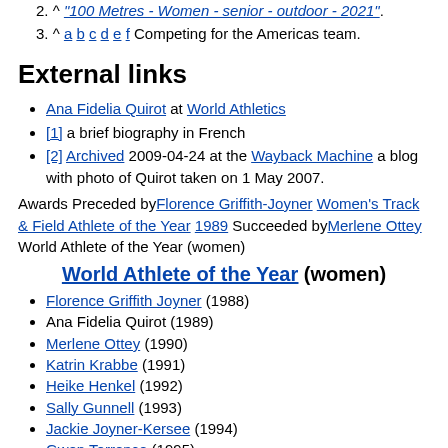2. ^ "100 Metres - Women - senior - outdoor - 2021".
3. ^ a b c d e f Competing for the Americas team.
External links
Ana Fidelia Quirot at World Athletics
[1] a brief biography in French
[2] Archived 2009-04-24 at the Wayback Machine a blog with photo of Quirot taken on 1 May 2007.
Awards Preceded by Florence Griffith-Joyner Women's Track & Field Athlete of the Year 1989 Succeeded by Merlene Ottey World Athlete of the Year (women)
World Athlete of the Year (women)
Florence Griffith Joyner (1988)
Ana Fidelia Quirot (1989)
Merlene Ottey (1990)
Katrin Krabbe (1991)
Heike Henkel (1992)
Sally Gunnell (1993)
Jackie Joyner-Kersee (1994)
Gwen Torrence (1995)
Svetlana Masterkova (1996)
Marion Jones (1997)